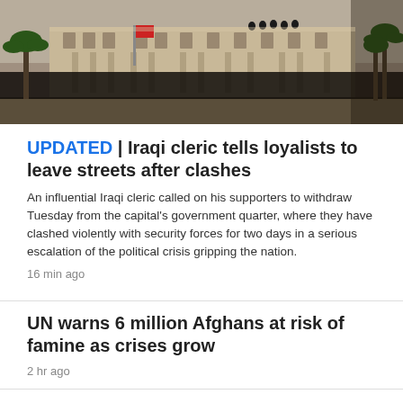[Figure (photo): Crowd of protesters gathered in front of a large government building with palm trees, people on balcony above.]
UPDATED | Iraqi cleric tells loyalists to leave streets after clashes
An influential Iraqi cleric called on his supporters to withdraw Tuesday from the capital's government quarter, where they have clashed violently with security forces for two days in a serious escalation of the political crisis gripping the nation.
16 min ago
UN warns 6 million Afghans at risk of famine as crises grow
2 hr ago